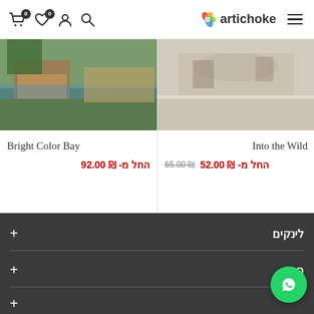artichoke — navbar with cart (0), wishlist (0), user, search, logo, hamburger menu
[Figure (photo): Left product card image – colorful bay scene with green and brown tones]
Bright Color Bay
החל מ- ₪ 92.00
[Figure (photo): Right product card image – Into the Wild, beige/sepia outdoor scene]
Into the Wild
₪ 65.00  החל מ- ₪ 52.00
לינקים +
ם +
[Figure (logo): WhatsApp contact button, circular green with phone/chat icon]